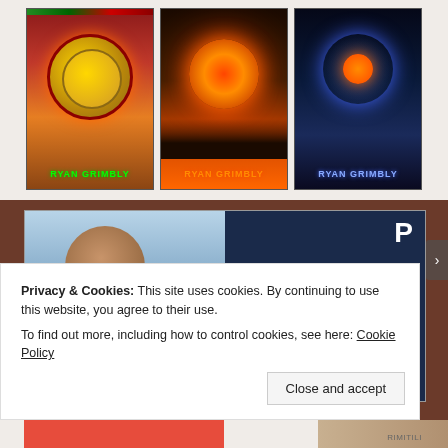[Figure (illustration): Three fantasy/sci-fi book covers by Ryan Grimbly side by side. Left: gold medallion with fire background. Center: dark sky with orange explosion/sun. Right: blue digital burst/flower with figures.]
[Figure (photo): Advertisement banner: left half shows a smiling woman holding an OPEN sign, right half is dark navy with text 'WORDPRESS HOSTING THAT MEANS BUSINESS.' and a P logo icon.]
WORDPRESS HOSTING THAT MEANS BUSINESS.
Privacy & Cookies: This site uses cookies. By continuing to use this website, you agree to their use.
To find out more, including how to control cookies, see here: Cookie Policy
Close and accept